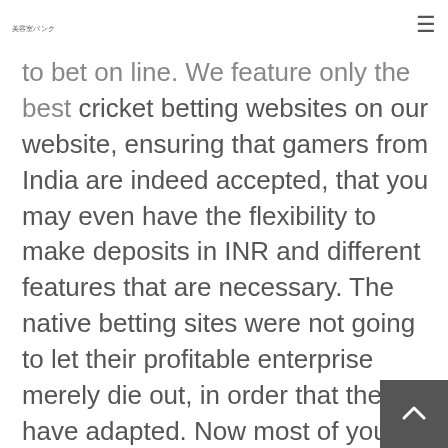美容室バンク
to bet on line. We feature only the best cricket betting websites on our website, ensuring that gamers from India are indeed accepted, that you may even have the flexibility to make deposits in INR and different features that are necessary. The native betting sites were not going to let their profitable enterprise merely die out, in order that they have adapted. Now most of your native bookmakers have moved to native betting sites instead.
A firm favorite with many, Coral have a